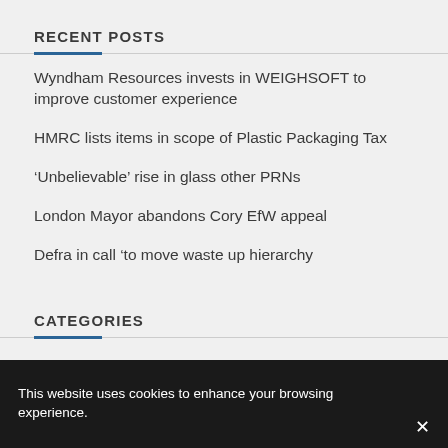RECENT POSTS
Wyndham Resources invests in WEIGHSOFT to improve customer experience
HMRC lists items in scope of Plastic Packaging Tax
‘Unbelievable’ rise in glass other PRNs
London Mayor abandons Cory EfW appeal
Defra in call ‘to move waste up hierarchy
CATEGORIES
This website uses cookies to enhance your browsing experience.